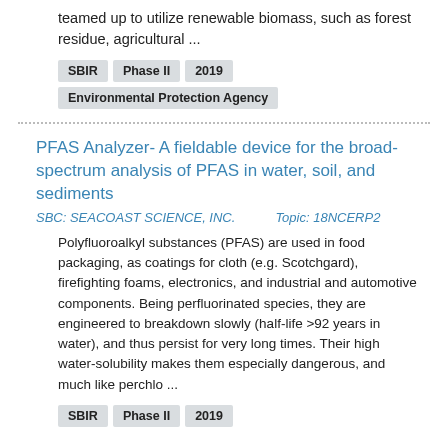teamed up to utilize renewable biomass, such as forest residue, agricultural ...
SBIR  Phase II  2019
Environmental Protection Agency
PFAS Analyzer- A fieldable device for the broad-spectrum analysis of PFAS in water, soil, and sediments
SBC: SEACOAST SCIENCE, INC.   Topic: 18NCERP2
Polyfluoroalkyl substances (PFAS) are used in food packaging, as coatings for cloth (e.g. Scotchgard), firefighting foams, electronics, and industrial and automotive components. Being perfluorinated species, they are engineered to breakdown slowly (half-life >92 years in water), and thus persist for very long times. Their high water-solubility makes them especially dangerous, and much like perchlo ...
SBIR  Phase II  2019